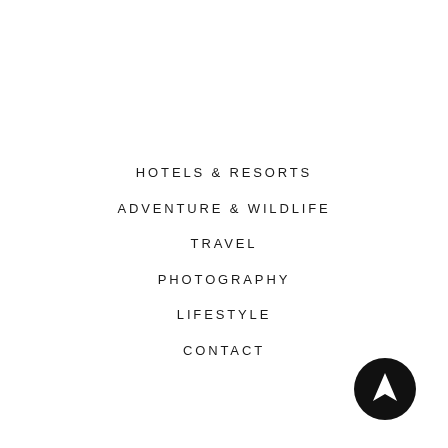HOTELS & RESORTS
ADVENTURE & WILDLIFE
TRAVEL
PHOTOGRAPHY
LIFESTYLE
CONTACT
[Figure (logo): Black circle with white upward-pointing navigation arrow icon]